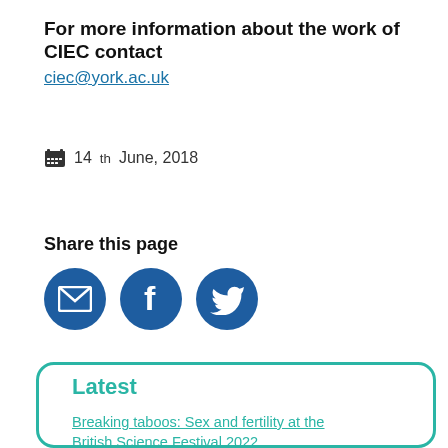For more information about the work of CIEC contact
ciec@york.ac.uk
14th June, 2018
Share this page
[Figure (infographic): Three circular social share buttons: email (envelope icon), Facebook (f icon), Twitter (bird icon), all in dark blue]
Latest
Breaking taboos: Sex and fertility at the British Science Festival 2022